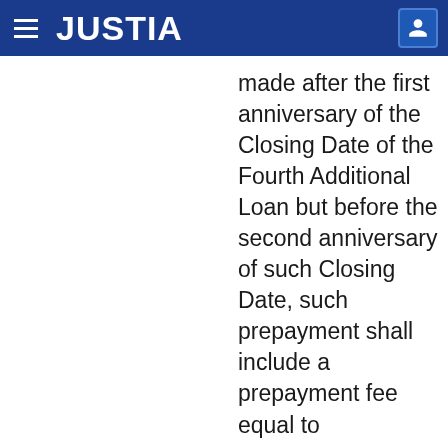JUSTIA
made after the first anniversary of the Closing Date of the Fourth Additional Loan but before the second anniversary of such Closing Date, such prepayment shall include a prepayment fee equal to